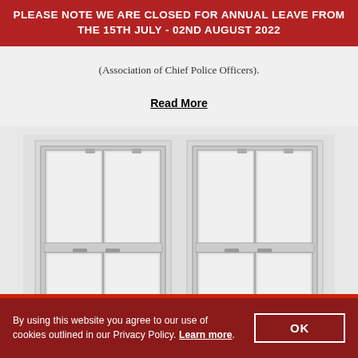PLEASE NOTE WE ARE CLOSED FOR ANNUAL LEAVE FROM THE 15TH JULY - 02ND AUGUST 2022
(Association of Chief Police Officers).
Read More
[Figure (photo): Two white sash/sliding windows side by side, shown from the front, with vertical and horizontal dividers, small lock hardware visible at mid-rail.]
By using this website you agree to our use of cookies outlined in our Privacy Policy. Learn more.
OK